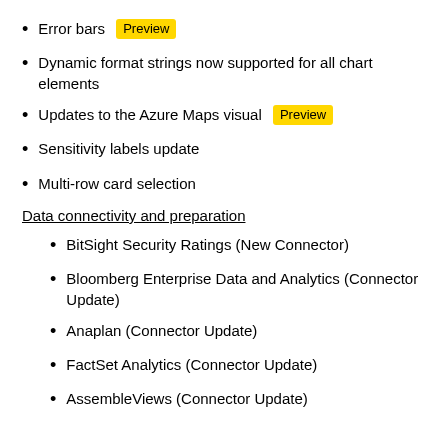Error bars [Preview]
Dynamic format strings now supported for all chart elements
Updates to the Azure Maps visual [Preview]
Sensitivity labels update
Multi-row card selection
Data connectivity and preparation
BitSight Security Ratings (New Connector)
Bloomberg Enterprise Data and Analytics (Connector Update)
Anaplan (Connector Update)
FactSet Analytics (Connector Update)
AssembleViews (Connector Update)